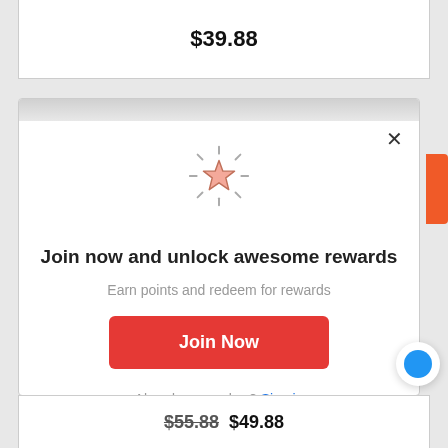$39.88
[Figure (illustration): Rewards modal popup with a sparkling star icon, headline, subtext, Join Now button, and sign in link]
Join now and unlock awesome rewards
Earn points and redeem for rewards
Join Now
Already a member? Sign in
$55.88 $49.88